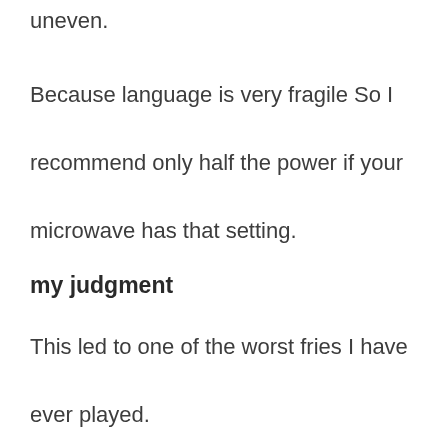uneven.
Because language is very fragile So I recommend only half the power if your microwave has that setting.
my judgment
This led to one of the worst fries I have ever played.